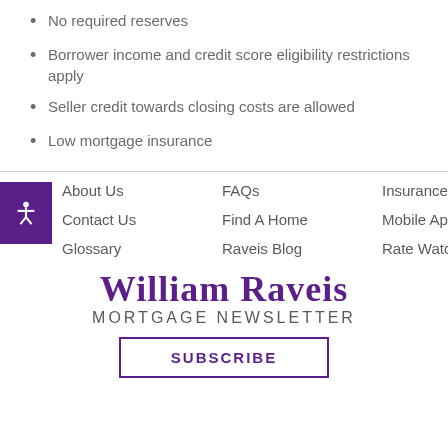No required reserves
Borrower income and credit score eligibility restrictions apply
Seller credit towards closing costs are allowed
Low mortgage insurance
About Us | FAQs | Insurance | Contact Us | Find A Home | Mobile Apps | Glossary | Raveis Blog | Rate Watch
WILLIAM RAVEIS MORTGAGE NEWSLETTER
SUBSCRIBE